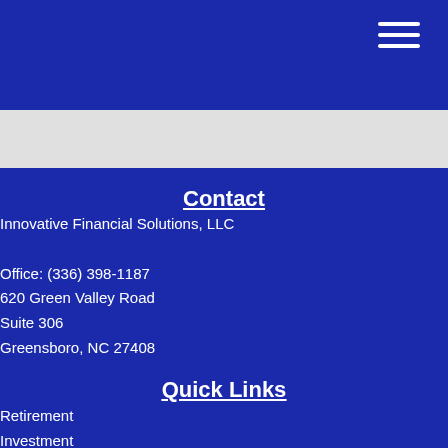Contact
Innovative Financial Solutions, LLC
Office: (336) 398-1187
620 Green Valley Road
Suite 306
Greensboro, NC 27408
Quick Links
Retirement
Investment
Estate
Insurance
Tax
Money
Lifestyle